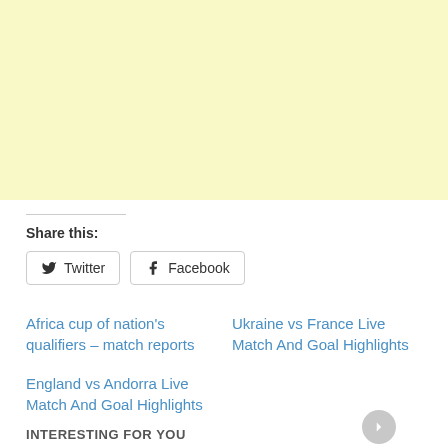[Figure (other): Light yellow advertisement or placeholder block at the top of the page]
Share this:
Twitter  Facebook
Africa cup of nation's qualifiers – match reports
Ukraine vs France Live Match And Goal Highlights
England vs Andorra Live Match And Goal Highlights
INTERESTING FOR YOU